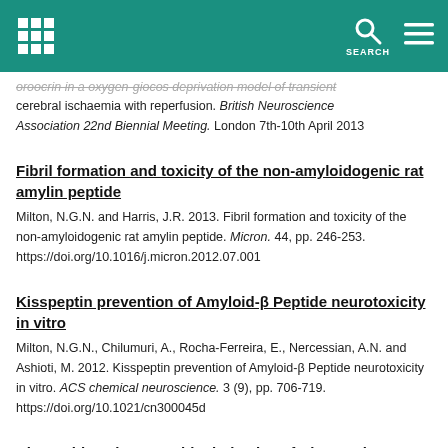SEARCH
oroocrin in a oxygen-giocos deprivation model of transient cerebral ischaemia with reperfusion. British Neuroscience Association 22nd Biennial Meeting. London 7th-10th April 2013
Fibril formation and toxicity of the non-amyloidogenic rat amylin peptide
Milton, N.G.N. and Harris, J.R. 2013. Fibril formation and toxicity of the non-amyloidogenic rat amylin peptide. Micron. 44, pp. 246-253. https://doi.org/10.1016/j.micron.2012.07.001
Kisspeptin prevention of Amyloid-β Peptide neurotoxicity in vitro
Milton, N.G.N., Chilumuri, A., Rocha-Ferreira, E., Nercessian, A.N. and Ashioti, M. 2012. Kisspeptin prevention of Amyloid-β Peptide neurotoxicity in vitro. ACS chemical neuroscience. 3 (9), pp. 706-719. https://doi.org/10.1021/cn300045d
Kissorphin, a hexapeptide derivative of Kisspeptin, acts via Neuropeptide FF receptors